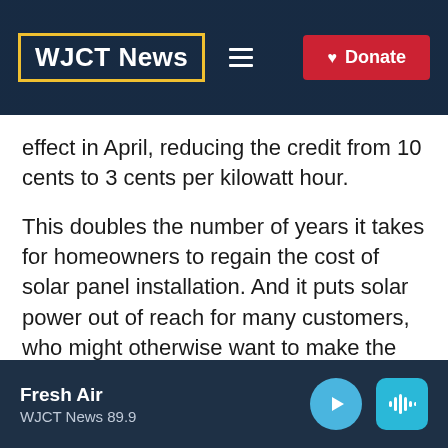WJCT News
effect in April, reducing the credit from 10 cents to 3 cents per kilowatt hour.
This doubles the number of years it takes for homeowners to regain the cost of solar panel installation. And it puts solar power out of reach for many customers, who might otherwise want to make the switch.
Critics of JEA’s move to cut compensation
Fresh Air
WJCT News 89.9